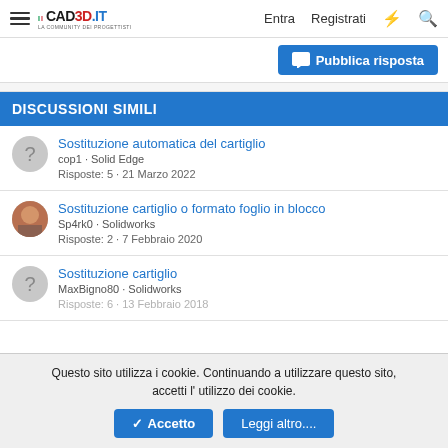CAD3D.it — Entra Registrati
Pubblica risposta
DISCUSSIONI SIMILI
Sostituzione automatica del cartiglio
cop1 · Solid Edge
Risposte: 5 · 21 Marzo 2022
Sostituzione cartiglio o formato foglio in blocco
Sp4rk0 · Solidworks
Risposte: 2 · 7 Febbraio 2020
Sostituzione cartiglio
MaxBigno80 · Solidworks
Questo sito utilizza i cookie. Continuando a utilizzare questo sito, accetti l' utilizzo dei cookie.
Accetto   Leggi altro....